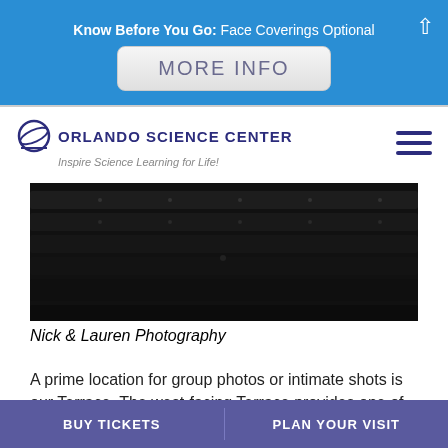Know Before You Go: Face Coverings Optional
MORE INFO
[Figure (logo): Orlando Science Center logo with ellipse icon and tagline 'Inspire Science Learning for Life!']
[Figure (photo): Dark photo showing rows of seats or theater-style seating area, mostly black]
Nick & Lauren Photography
A prime location for group photos or intimate shots is our Terrace. The west-facing Terrace provides one of the best wedding portrait backdrops in Orlando.
BUY TICKETS   PLAN YOUR VISIT